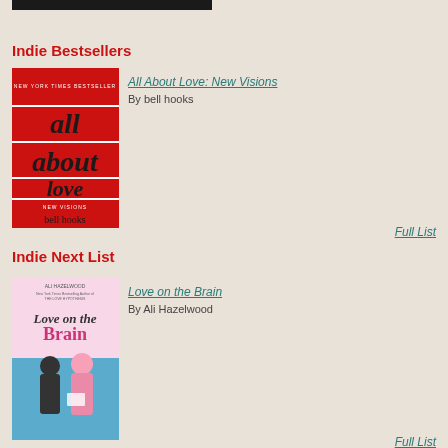[Figure (illustration): Dark top bar / header image strip at the top of the page]
Indie Bestsellers
[Figure (photo): Book cover for 'All About Love: New Visions' by bell hooks. Red background with italic black text reading 'all about love new visions' and 'bell hooks' at bottom.]
All About Love: New Visions
By bell hooks
Full List
Indie Next List
[Figure (photo): Book cover for 'Love on the Brain' by Ali Hazelwood. Illustrated cover showing a woman with pink hair and a man in a teal/blue background with pink and white tones.]
Love on the Brain
By Ali Hazelwood
Full List